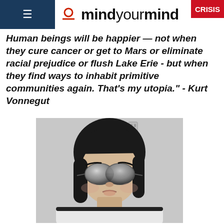mindyourmind CRISIS
Human beings will be happier - not when they cure cancer or get to Mars or eliminate racial prejudice or flush Lake Erie - but when they find ways to inhabit primitive communities again. That's my utopia." - Kurt Vonnegut
[Figure (photo): A person wearing large reflective aviator sunglasses making a pouty face, wearing a white t-shirt with black collar trim, photographed in black and white style.]